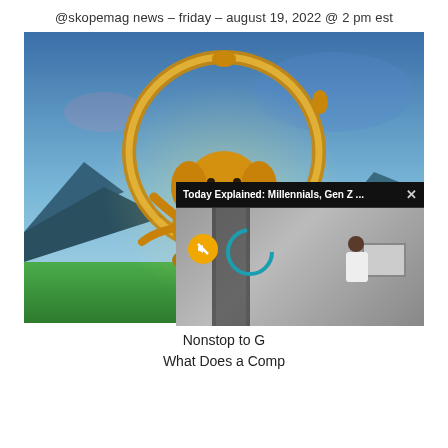@skopemag news – friday – august 19, 2022 @ 2 pm est
[Figure (illustration): Digital artwork of a golden multi-armed elephant deity seated in a lotus meditation pose, surrounded by an ornate golden circular mirror/ring frame, set against a blue sky with mountains and green grass background]
[Figure (screenshot): Overlay popup video player showing 'Today Explained: Millennials, Gen Z ...' title bar with close X button, and a video thumbnail of a person sitting at a computer desk, with a mute button and loading ring overlay]
Nonstop to G
What Does a Comp